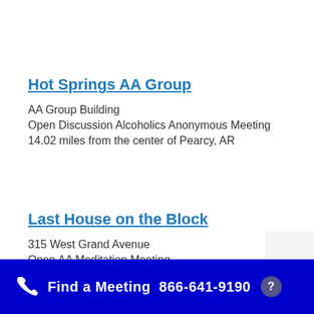Hot Springs AA Group
AA Group Building
Open Discussion Alcoholics Anonymous Meeting
14.02 miles from the center of Pearcy, AR
Last House on the Block
315 West Grand Avenue
Open AA Meditation Meeting
Find a Meeting  866-641-9190